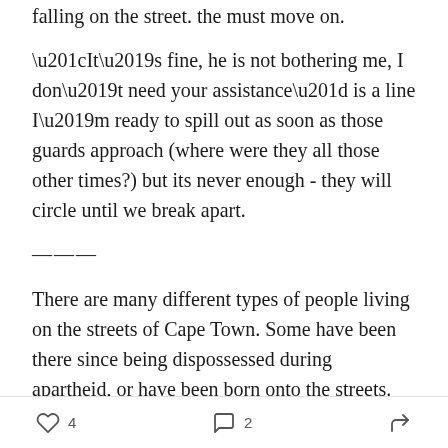falling on the street. the must move on.
“It’s fine, he is not bothering me, I don’t need your assistance” is a line I’m ready to spill out as soon as those guards approach (where were they all those other times?) but its never enough - they will circle until we break apart.
———
There are many different types of people living on the streets of Cape Town. Some have been there since being dispossessed during apartheid, or have been born onto the streets. Others have landed on the streets as immigrants. Others have untreated mental health issues, or substance abuse issues. Some are couples,
♡ 4   💬 2   ➤